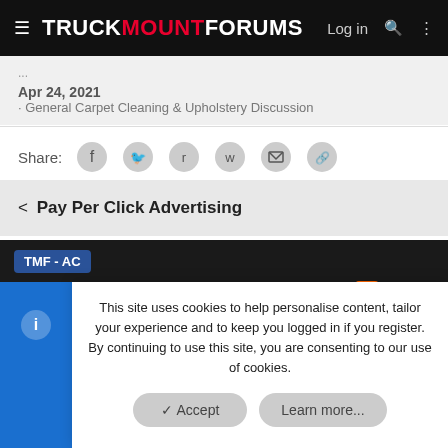TRUCKMOUNTFORUMS — Log in
Apr 24, 2021 · General Carpet Cleaning & Upholstery Discussion
Share: [Facebook] [Twitter] [Reddit] [WhatsApp] [Email] [Link]
< Pay Per Click Advertising
TMF - AC | Contact us · Terms and rules · Privacy policy · Help
This site uses cookies to help personalise content, tailor your experience and to keep you logged in if you register. By continuing to use this site, you are consenting to our use of cookies.
Accept | Learn more...